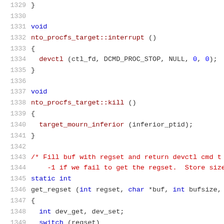1329  }
1330
1331  void
1332  nto_procfs_target::interrupt ()
1333  {
1334    devctl (ctl_fd, DCMD_PROC_STOP, NULL, 0, 0);
1335  }
1336
1337  void
1338  nto_procfs_target::kill ()
1339  {
1340    target_mourn_inferior (inferior_ptid);
1341  }
1342
1343  /* Fill buf with regset and return devctl cmd t
1344      -1 if we fail to get the regset.  Store size
1345  static int
1346  get_regset (int regset, char *buf, int bufsize,
1347  {
1348    int dev_get, dev_set;
1349    switch (regset)
1350    {